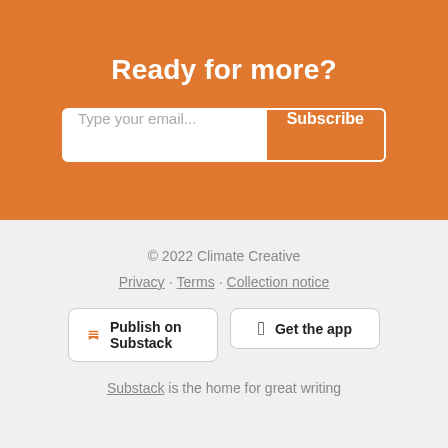Ready for more?
Type your email... Subscribe
© 2022 Climate Creative
Privacy · Terms · Collection notice
Publish on Substack
Get the app
Substack is the home for great writing